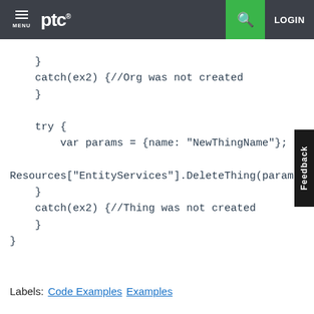MENU | ptc® | [search] | LOGIN
}
    catch(ex2) {//Org was not created
    }

    try {
        var params = {name: "NewThingName"};

Resources["EntityServices"].DeleteThing(params);
    }
    catch(ex2) {//Thing was not created
    }
}
Labels:  Code Examples   Examples